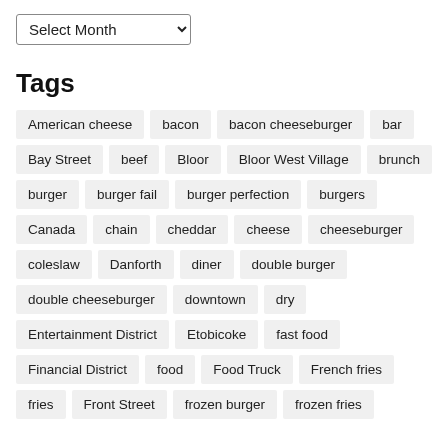Select Month
Tags
American cheese
bacon
bacon cheeseburger
bar
Bay Street
beef
Bloor
Bloor West Village
brunch
burger
burger fail
burger perfection
burgers
Canada
chain
cheddar
cheese
cheeseburger
coleslaw
Danforth
diner
double burger
double cheeseburger
downtown
dry
Entertainment District
Etobicoke
fast food
Financial District
food
Food Truck
French fries
fries
Front Street
frozen burger
frozen fries